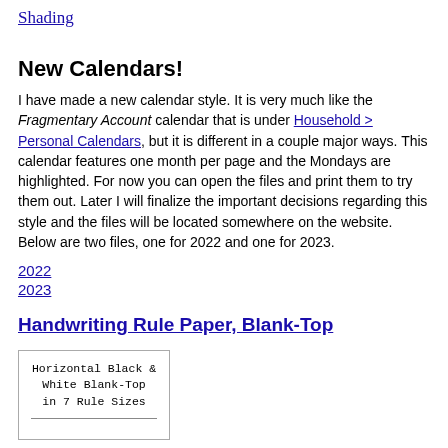Shading
New Calendars!
I have made a new calendar style. It is very much like the Fragmentary Account calendar that is under Household > Personal Calendars, but it is different in a couple major ways. This calendar features one month per page and the Mondays are highlighted. For now you can open the files and print them to try them out. Later I will finalize the important decisions regarding this style and the files will be located somewhere on the website. Below are two files, one for 2022 and one for 2023.
2022
2023
Handwriting Rule Paper, Blank-Top
[Figure (illustration): Thumbnail image showing text: Horizontal Black & White Blank-Top in 7 Rule Sizes, with a horizontal rule at the bottom]